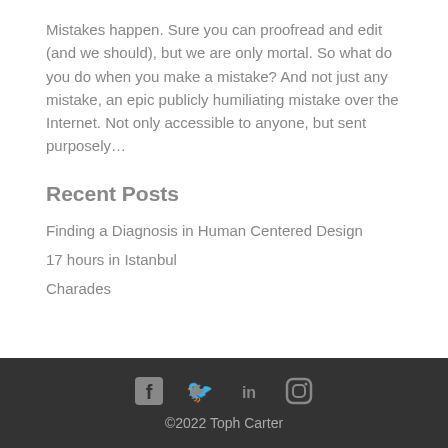Mistakes happen.  Sure you can proofread and edit (and we should), but we are only mortal.  So what do you do when you make a mistake?  And not just any mistake, an epic publicly humiliating mistake over the Internet.  Not only accessible to anyone, but sent purposely…
Recent Posts
Finding a Diagnosis in Human Centered Design
17 hours in Istanbul
Charades
©2022 Toph Carter